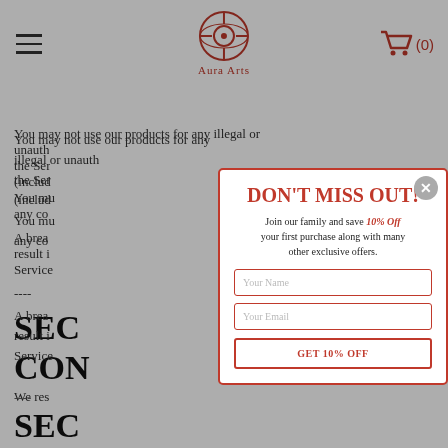Aura Arts logo, hamburger menu, cart (0)
You may not use our products for any illegal or unauthorized purpose nor may you, in the use of the Service, violate any laws in your jurisdiction (including but not limited to copyright laws). You must not transmit any worms or viruses or any code of a destructive nature.
A breach or violation of any of the Terms will result in an immediate termination of your Services.
----
SECTION 5 - CONDTIONS
We reserve...
[Figure (other): Modal popup overlay with red border. Title: DON'T MISS OUT! Subtitle: Join our family and save 10% Off your first purchase along with many other exclusive offers. Two input fields: Your Name, Your Email. Button: GET 10% OFF]